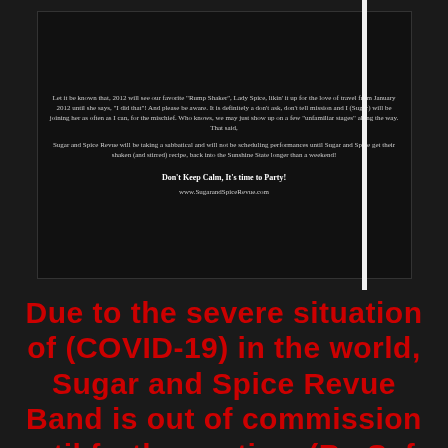[Figure (screenshot): A dark-background flyer/poster screenshot for Sugar and Spice Revue Band, containing text about Lady Spice and band activities, ending with 'Don't Keep Calm, It's time to Party!']
Due to the severe situation of (COVID-19) in the world, Sugar and Spice Revue Band is out of commission until further notice. (Be Safe & Stay Home)